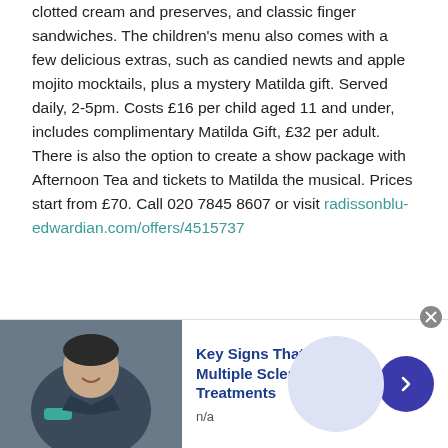clotted cream and preserves, and classic finger sandwiches. The children's menu also comes with a few delicious extras, such as candied newts and apple mojito mocktails, plus a mystery Matilda gift. Served daily, 2-5pm. Costs £16 per child aged 11 and under, includes complimentary Matilda Gift, £32 per adult. There is also the option to create a show package with Afternoon Tea and tickets to Matilda the musical. Prices start from £70. Call 020 7845 8607 or visit radissonblu-edwardian.com/offers/4515737
[Figure (photo): Advertisement banner: photo of a person on the left, bold blue text 'Key Signs That Multiple Sclerosis Treatments', subtext 'n/a', blue circular arrow button on right]